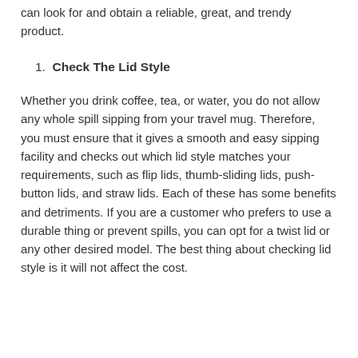can look for and obtain a reliable, great, and trendy product.
1. Check The Lid Style
Whether you drink coffee, tea, or water, you do not allow any whole spill sipping from your travel mug. Therefore, you must ensure that it gives a smooth and easy sipping facility and checks out which lid style matches your requirements, such as flip lids, thumb-sliding lids, push-button lids, and straw lids. Each of these has some benefits and detriments. If you are a customer who prefers to use a durable thing or prevent spills, you can opt for a twist lid or any other desired model. The best thing about checking lid style is it will not affect the cost.